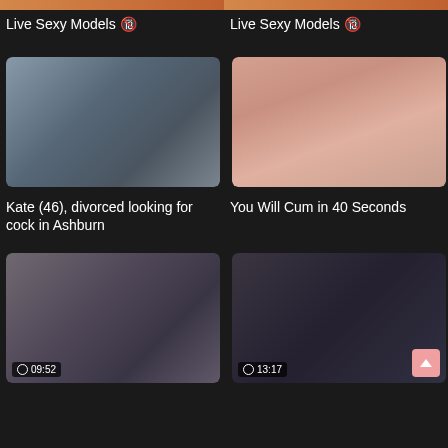[Figure (screenshot): Top banner strip left - orange/brown gradient thumbnail strip]
[Figure (screenshot): Top banner strip right - orange/brown gradient thumbnail strip]
Live Sexy Models 🔞
Live Sexy Models 🔞
[Figure (photo): Woman in dark blue shirt lying on couch]
[Figure (photo): Peach/pink colored object close-up]
Kate (46), divorced looking for cock in Ashburn
You Will Cum in 40 Seconds
[Figure (photo): Man and woman in nun costume, duration 09:52]
[Figure (photo): Woman in nun costume with black outfit, duration 13:17]